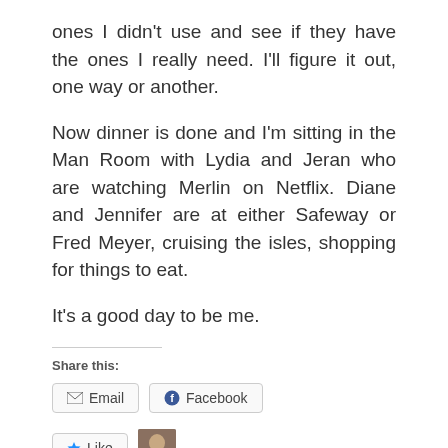ones I didn't use and see if they have the ones I really need. I'll figure it out, one way or another.
Now dinner is done and I'm sitting in the Man Room with Lydia and Jeran who are watching Merlin on Netflix. Diane and Jennifer are at either Safeway or Fred Meyer, cruising the isles, shopping for things to eat.
It's a good day to be me.
Share this:
[Figure (other): Share buttons: Email and Facebook]
[Figure (other): Like button and blogger avatar thumbnail]
One blogger likes this